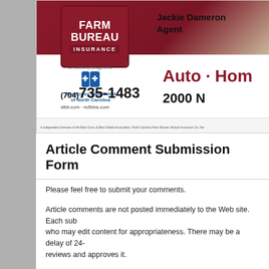[Figure (logo): Farm Bureau Insurance advertisement banner showing logo, BlueCross BlueShield authorization, phone number (704) 735-1483, websites sfbli.com and ncfbins.com, agent Jackie Dameron, and text Auto · Home, 2000 N...]
Article Comment Submission Form
Please feel free to submit your comments.
Article comments are not posted immediately to the Web site. Each sub who may edit content for appropriateness. There may be a delay of 24- reviews and approves it.
Note: All information on this form is required. Your telephone number is comment.
Submit an Article Comment